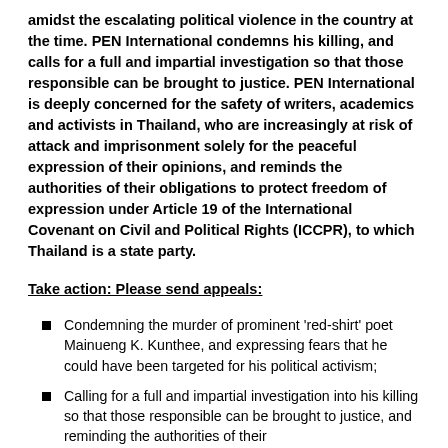amidst the escalating political violence in the country at the time. PEN International condemns his killing, and calls for a full and impartial investigation so that those responsible can be brought to justice. PEN International is deeply concerned for the safety of writers, academics and activists in Thailand, who are increasingly at risk of attack and imprisonment solely for the peaceful expression of their opinions, and reminds the authorities of their obligations to protect freedom of expression under Article 19 of the International Covenant on Civil and Political Rights (ICCPR), to which Thailand is a state party.
Take action: Please send appeals:
Condemning the murder of prominent 'red-shirt' poet Mainueng K. Kunthee, and expressing fears that he could have been targeted for his political activism;
Calling for a full and impartial investigation into his killing so that those responsible can be brought to justice, and reminding the authorities of their